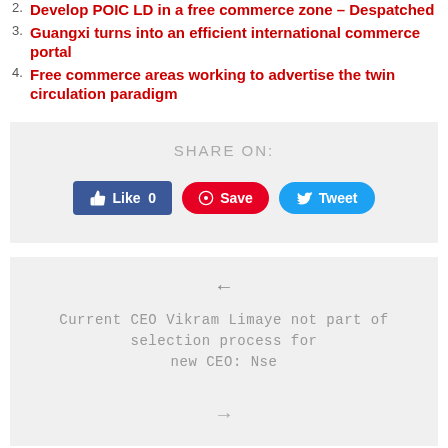2. Develop POIC LD in a free commerce zone – Despatched
3. Guangxi turns into an efficient international commerce portal
4. Free commerce areas working to advertise the twin circulation paradigm
[Figure (infographic): Share On section with Facebook Like (0), Pinterest Save, and Twitter Tweet buttons on a light gray background]
[Figure (infographic): Navigation box with left arrow, article title 'Current CEO Vikram Limaye not part of selection process for new CEO: Nse', author line, and right arrow on light gray background]